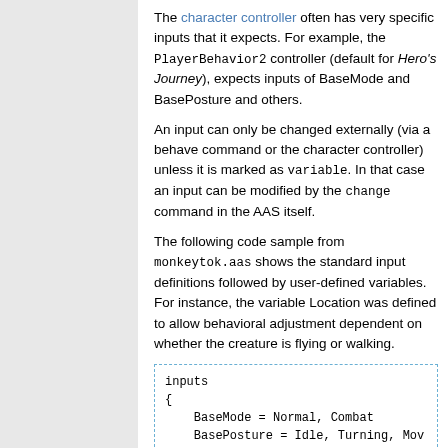The character controller often has very specific inputs that it expects. For example, the PlayerBehavior2 controller (default for Hero's Journey), expects inputs of BaseMode and BasePosture and others.
An input can only be changed externally (via a behave command or the character controller) unless it is marked as variable. In that case an input can be modified by the change command in the AAS itself.
The following code sample from monkeytok.aas shows the standard input definitions followed by user-defined variables. For instance, the variable Location was defined to allow behavioral adjustment dependent on whether the creature is flying or walking.
[Figure (screenshot): Code box with dashed border showing inputs block: inputs { BaseMode = Normal, Combat  BasePosture = Idle, Turning, Mov  IdleType = Normal]